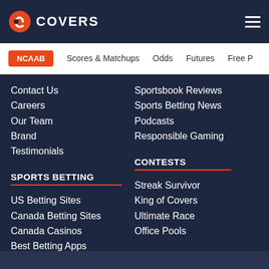COVERS
NCAAB  Scores & Matchups  Odds  Futures  Free P
Contact Us
Careers
Our Team
Brand
Testimonials
Sportsbook Reviews
Sports Betting News
Podcasts
Responsible Gaming
SPORTS BETTING
CONTESTS
US Betting Sites
Canada Betting Sites
Canada Casinos
Best Betting Apps
Streak Survivor
King of Covers
Ultimate Race
Office Pools